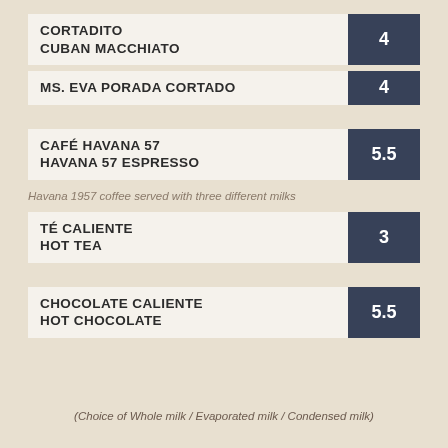CORTADITO CUBAN MACCHIATO — 4
MS. EVA PORADA CORTADO — 4
CAFÉ HAVANA 57 HAVANA 57 ESPRESSO — 5.5
Havana 1957 coffee served with three different milks
TÉ CALIENTE HOT TEA — 3
CHOCOLATE CALIENTE HOT CHOCOLATE — 5.5
(Choice of Whole milk / Evaporated milk / Condensed milk)